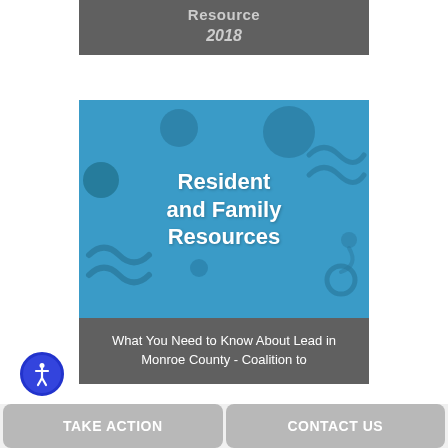Resource 2018
[Figure (illustration): Blue illustrated cover image with decorative circles and wave shapes. Large bold white text reads 'Resident and Family Resources' centered on a teal/blue background.]
What You Need to Know About Lead in Monroe County - Coalition to
TAKE ACTION
CONTACT US